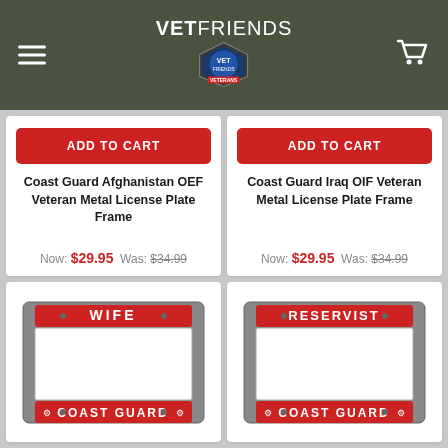VETFRIENDS
[Figure (screenshot): Product card: Coast Guard Afghanistan OEF Veteran Metal License Plate Frame, Now: $29.95 Was: $34.99]
[Figure (screenshot): Product card: Coast Guard Iraq OIF Veteran Metal License Plate Frame, Now: $29.95 Was: $34.99]
[Figure (photo): Coast Guard WIFE metal license plate frame - silver metal frame with red banner reading WIFE on top and COAST GUARD on bottom]
[Figure (photo): Coast Guard RESERVIST metal license plate frame - silver metal frame with red banner reading RESERVIST on top and COAST GUARD on bottom]